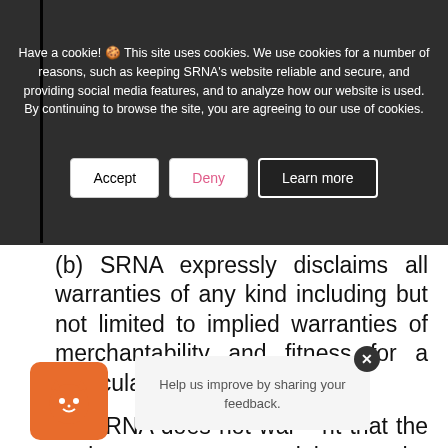(a) All material on the Websites is provided to you without warranties of any kind, either express or implied, and whether oral or written...
Have a cookie! 🍪 This site uses cookies. We use cookies for a number of reasons, such as keeping SRNA's website reliable and secure, and providing social media features, and to analyze how our website is used. By continuing to browse the site, you are agreeing to our use of cookies.
(b) SRNA expressly disclaims all warranties of any kind including but not limited to implied warranties of merchantability and fitness for a particular purpose;
(c) SRNA does not warrant that the und... any material on the Websites or your access to